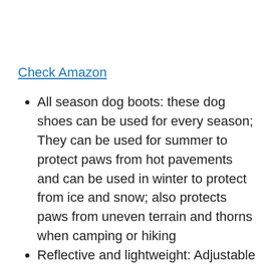Check Amazon
All season dog boots: these dog shoes can be used for every season; They can be used for summer to protect paws from hot pavements and can be used in winter to protect from ice and snow; also protects paws from uneven terrain and thorns when camping or hiking
Reflective and lightweight: Adjustable Paw protectors are reflective for visibility in low light; doggy shoes are lightweight and have an ergonomic design; made of tight weave breathable mesh for ventilation; dog boots are adjustable for a custom fit so boots don't fall